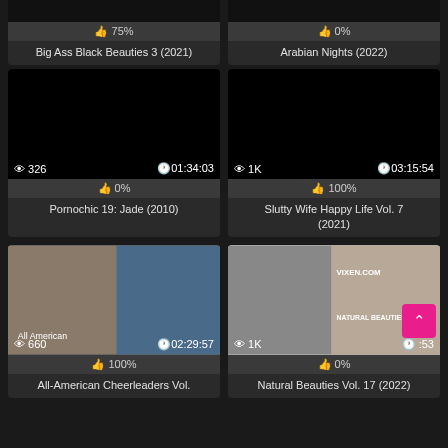[Figure (screenshot): Partial top cards: Big Ass Black Beauties 3 (2021) with 75% rating, Arabian Nights (2022) with 0% rating]
Big Ass Black Beauties 3 (2021)
Arabian Nights (2022)
[Figure (screenshot): Video thumbnail black screen, 326 views, duration 01:34:03, 0% rating]
Pornochic 19: Jade (2010)
[Figure (screenshot): Video thumbnail black screen, 1K views, duration 03:15:54, 100% rating]
Slutty Wife Happy Life Vol. 7 (2021)
[Figure (photo): All-American Cheerleaders DVD cover, 660 views, duration 02:29:57, 100% rating]
All-American Cheerleaders Vol.
[Figure (photo): Natural Beauties Vol. 17 (2022) Vixen.com DVD cover, 1K views, 0% rating]
Natural Beauties Vol. 17 (2022)